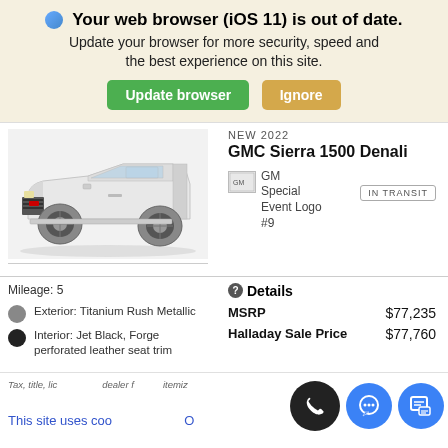🌐 Your web browser (iOS 11) is out of date. Update your browser for more security, speed and the best experience on this site.
Update browser | Ignore
NEW 2022
GMC Sierra 1500 Denali
[Figure (photo): White GMC Sierra 1500 pickup truck, front 3/4 view]
[Figure (logo): GM Special Event Logo #9 badge image]
IN TRANSIT
Mileage: 5
Exterior: Titanium Rush Metallic
Interior: Jet Black, Forge perforated leather seat trim
Details
|  |  |
| --- | --- |
| MSRP | $77,235 |
| Halladay Sale Price | $77,760 |
Tax, title, lic dealer f itemiz
This site uses coo O